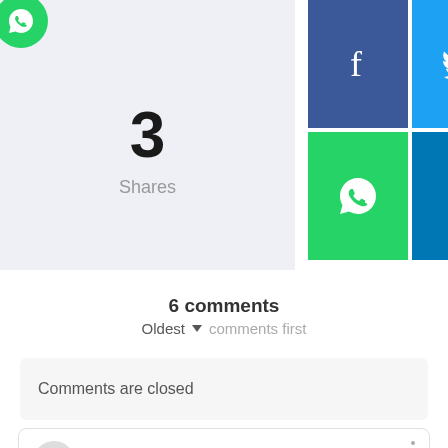[Figure (infographic): Share count box showing '3 Shares' with a green WhatsApp circle icon in top-left corner, on a light blue-grey background]
[Figure (infographic): Social sharing buttons grid: Facebook (blue), Twitter (light blue), WhatsApp (green), LinkedIn (dark blue)]
6 comments
Oldest ▾ comments first
Comments are closed
Abdul WAHAB